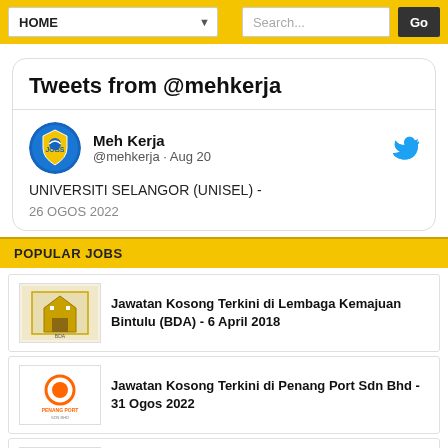HOME | Search... | Go
[Figure (screenshot): Tweets from @mehkerja widget showing Meh Kerja Twitter account with tweet about UNIVERSITI SELANGOR (UNISEL) - 26 OGOS 2022]
POPULAR JOBS
Jawatan Kosong Terkini di Lembaga Kemajuan Bintulu (BDA) - 6 April 2018
Jawatan Kosong Terkini di Penang Port Sdn Bhd - 31 Ogos 2022
Jawatan Kosong Terkini di Kumpulan Wang Persaraan (Diperbadankan) [KWAP] - 9 September 2022